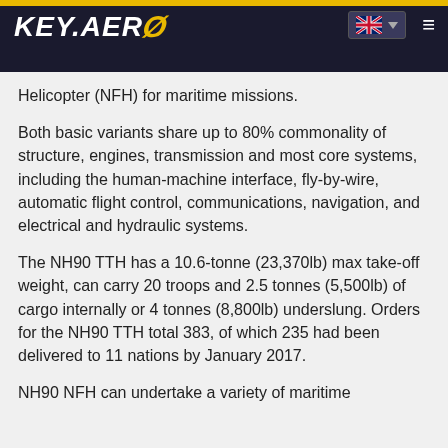KEY.AERO
Helicopter (NFH) for maritime missions.
Both basic variants share up to 80% commonality of structure, engines, transmission and most core systems, including the human-machine interface, fly-by-wire, automatic flight control, communications, navigation, and electrical and hydraulic systems.
The NH90 TTH has a 10.6-tonne (23,370lb) max take-off weight, can carry 20 troops and 2.5 tonnes (5,500lb) of cargo internally or 4 tonnes (8,800lb) underslung. Orders for the NH90 TTH total 383, of which 235 had been delivered to 11 nations by January 2017.
NH90 NFH can undertake a variety of maritime